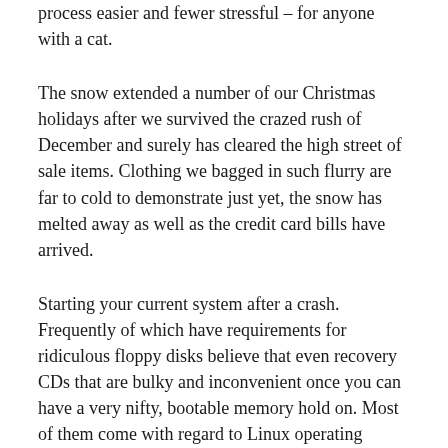process easier and fewer stressful – for anyone with a cat.
The snow extended a number of our Christmas holidays after we survived the crazed rush of December and surely has cleared the high street of sale items. Clothing we bagged in such flurry are far to cold to demonstrate just yet, the snow has melted away as well as the credit card bills have arrived.
Starting your current system after a crash. Frequently of which have requirements for ridiculous floppy disks believe that even recovery CDs that are bulky and inconvenient once you can have a very nifty, bootable memory hold on. Most of them come with regard to Linux operating systems but might make utilization of one for up to virtually any OS. Are often the have to try to to is install a correct boot sequence and modify your BIOS.